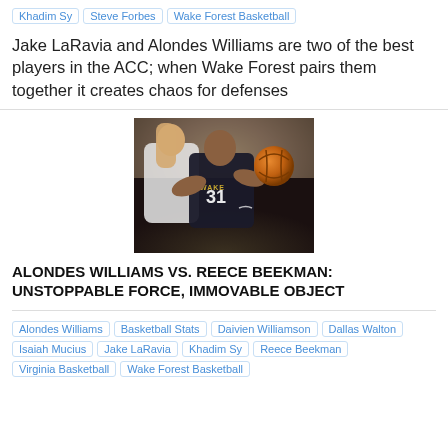Khadim Sy | Steve Forbes | Wake Forest Basketball
Jake LaRavia and Alondes Williams are two of the best players in the ACC; when Wake Forest pairs them together it creates chaos for defenses
[Figure (photo): Basketball game photo showing Wake Forest player #31 in black uniform driving to the basket against a defender in white uniform]
ALONDES WILLIAMS VS. REECE BEEKMAN: UNSTOPPABLE FORCE, IMMOVABLE OBJECT
Alondes Williams | Basketball Stats | Daivien Williamson | Dallas Walton | Isaiah Mucius | Jake LaRavia | Khadim Sy | Reece Beekman | Virginia Basketball | Wake Forest Basketball